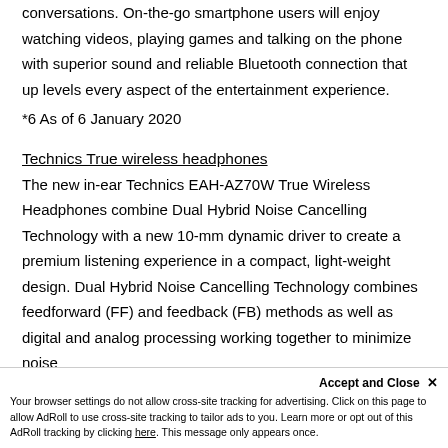conversations. On-the-go smartphone users will enjoy watching videos, playing games and talking on the phone with superior sound and reliable Bluetooth connection that up levels every aspect of the entertainment experience.
*6 As of 6 January 2020
Technics True wireless headphones
The new in-ear Technics EAH-AZ70W True Wireless Headphones combine Dual Hybrid Noise Cancelling Technology with a new 10-mm dynamic driver to create a premium listening experience in a compact, light-weight design. Dual Hybrid Noise Cancelling Technology combines feedforward (FF) and feedback (FB) methods as well as digital and analog processing working together to minimize noise inside and outside of the headphones, so listener
Accept and Close ✕ Your browser settings do not allow cross-site tracking for advertising. Click on this page to allow AdRoll to use cross-site tracking to tailor ads to you. Learn more or opt out of this AdRoll tracking by clicking here. This message only appears once.